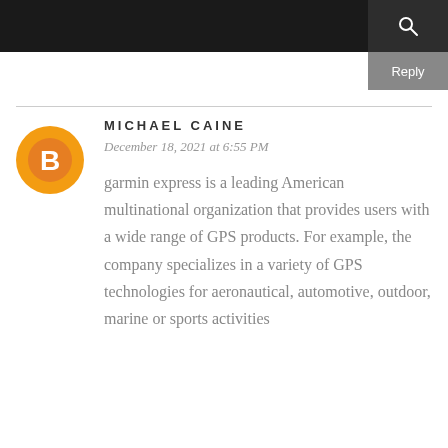Reply
MICHAEL CAINE
December 18, 2021 at 6:55 PM
garmin express is a leading American multinational organization that provides users with a wide range of GPS products. For example, the company specializes in a variety of GPS technologies for aeronautical, automotive, outdoor, marine or sports activities